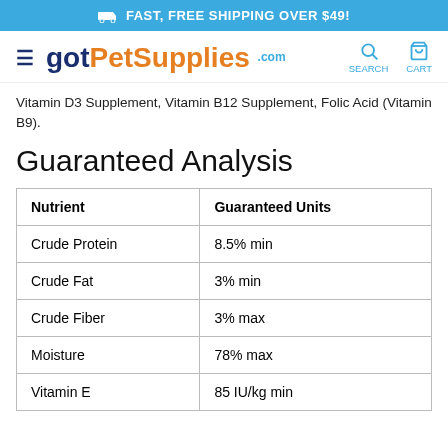FAST, FREE SHIPPING OVER $49!
gotPetSupplies.com
Vitamin D3 Supplement, Vitamin B12 Supplement, Folic Acid (Vitamin B9).
Guaranteed Analysis
| Nutrient | Guaranteed Units |
| --- | --- |
| Crude Protein | 8.5% min |
| Crude Fat | 3% min |
| Crude Fiber | 3% max |
| Moisture | 78% max |
| Vitamin E | 85 IU/kg min |